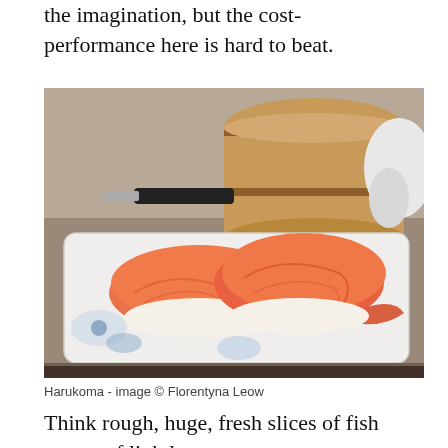the imagination, but the cost-performance here is hard to beat.
[Figure (photo): Two large pieces of salmon nigiri sushi on a white and blue ceramic plate, with a wooden rice tub and knife visible in the background on a counter.]
Harukoma - image © Florentyna Leow
Think rough, huge, fresh slices of fish on top of lightly